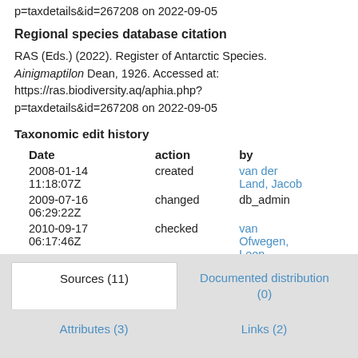p=taxdetails&id=267208 on 2022-09-05
Regional species database citation
RAS (Eds.) (2022). Register of Antarctic Species. Ainigmaptilon Dean, 1926. Accessed at: https://ras.biodiversity.aq/aphia.php?p=taxdetails&id=267208 on 2022-09-05
Taxonomic edit history
| Date | action | by |
| --- | --- | --- |
| 2008-01-14 11:18:07Z | created | van der Land, Jacob |
| 2009-07-16 06:29:22Z | changed | db_admin |
| 2010-09-17 06:17:46Z | checked | van Ofwegen, Leen |
[taxonomic tree]
Sources (11)
Documented distribution (0)
Attributes (3)
Links (2)